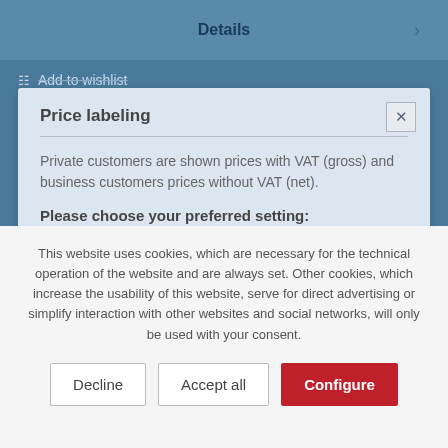Details >
Add to wishlist
Price labeling
Private customers are shown prices with VAT (gross) and business customers prices without VAT (net).
Please choose your preferred setting:
This website uses cookies, which are necessary for the technical operation of the website and are always set. Other cookies, which increase the usability of this website, serve for direct advertising or simplify interaction with other websites and social networks, will only be used with your consent.
Decline
Accept all
Configure